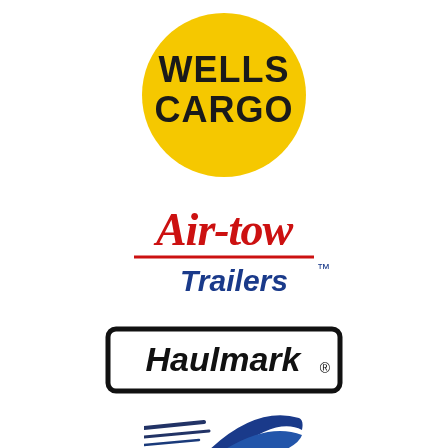[Figure (logo): Wells Cargo logo: yellow circle with bold black stencil text WELLS CARGO in two lines]
[Figure (logo): Air-tow Trailers logo: red italic script text Air-tow with a horizontal red line beneath, and blue bold italic text Trailers with TM superscript]
[Figure (logo): Haulmark logo: black bold italic text Haulmark with registered trademark symbol inside a rounded black rectangle border]
[Figure (logo): Partial logo at bottom: speed lines in dark navy and a curved dark blue shape, partially cut off]